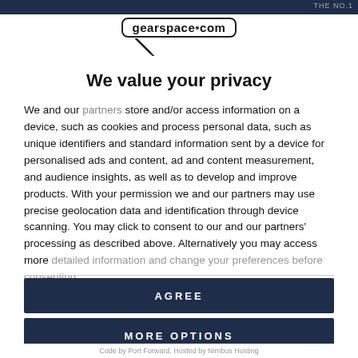THE NO.1
[Figure (logo): gearspace.com logo with microphone graphic below]
We value your privacy
We and our partners store and/or access information on a device, such as cookies and process personal data, such as unique identifiers and standard information sent by a device for personalised ads and content, ad and content measurement, and audience insights, as well as to develop and improve products. With your permission we and our partners may use precise geolocation data and identification through device scanning. You may click to consent to our and our partners' processing as described above. Alternatively you may access more detailed information and change your preferences before consenting
AGREE
MORE OPTIONS
Code by Port Forward. Hosted by Nimbus Hosting